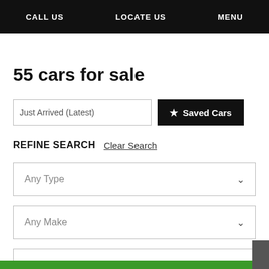CALL US   LOCATE US   MENU
55 cars for sale
Just Arrived (Latest)   ★ Saved Cars
REFINE SEARCH   Clear Search
Any Type
Any Make
Any Model